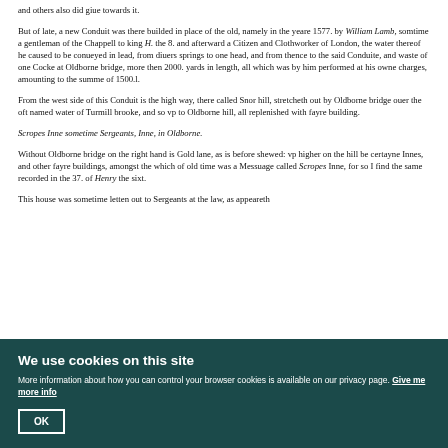and others also did giue towards it.
But of late, a new Conduit was there builded in place of the old, namely in the yeare 1577. by William Lamb, somtime a gentleman of the Chappell to king H. the 8. and afterward a Citizen and Clothworker of London, the water thereof he caused to be conueyed in lead, from diuers springs to one head, and from thence to the said Conduite, and waste of one Cocke at Oldborne bridge, more then 2000. yards in length, all which was by him performed at his owne charges, amounting to the summe of 1500.l.
From the west side of this Conduit is the high way, there called Snor hill, stretcheth out by Oldborne bridge ouer the oft named water of Turmill brooke, and so vp to Oldborne hill, all replenished with fayre building.
Scropes Inne sometime Sergeants, Inne, in Oldborne.
Without Oldborne bridge on the right hand is Gold lane, as is before shewed: vp higher on the hill be certayne Innes, and other fayre buildings, amongst the which of old time was a Messuage called Scropes Inne, for so I find the same recorded in the 37. of Henry the sixt.
This house was sometime letten out to Sergeants at the law, as appeareth
We use cookies on this site
More information about how you can control your browser cookies is available on our privacy page. Give me more info
OK